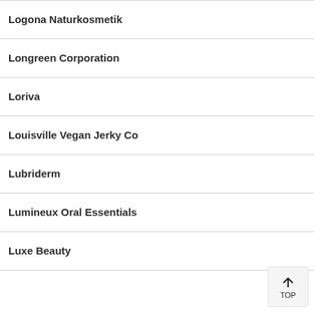Logona Naturkosmetik
Longreen Corporation
Loriva
Louisville Vegan Jerky Co
Lubriderm
Lumineux Oral Essentials
Luxe Beauty